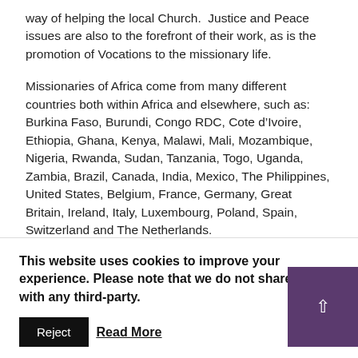way of helping the local Church.  Justice and Peace issues are also to the forefront of their work, as is the promotion of Vocations to the missionary life.
Missionaries of Africa come from many different countries both within Africa and elsewhere, such as: Burkina Faso, Burundi, Congo RDC, Cote d’Ivoire, Ethiopia, Ghana, Kenya, Malawi, Mali, Mozambique, Nigeria, Rwanda, Sudan, Tanzania, Togo, Uganda, Zambia, Brazil, Canada, India, Mexico, The Philippines, United States, Belgium, France, Germany, Great Britain, Ireland, Italy, Luxembourg, Poland, Spain, Switzerland and The Netherlands.
Any ministry which has a real relationship with Africa, no
This website uses cookies to improve your experience. Please note that we do not share data with any third-party.